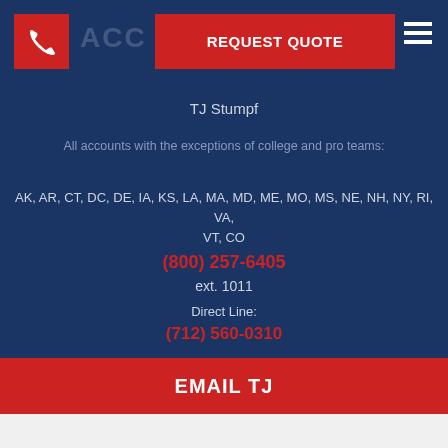[Figure (screenshot): Navigation bar with phone icon, REQUEST QUOTE red button, and hamburger menu on dark navy background]
TJ Stumpf
All accounts with the exceptions of college and pro teams:
AK, AR, CT, DC, DE, IA, KS, LA, MA, MD, ME, MO, MS, NE, NH, NY, RI, VA, VT, CO
(800) 257-6405
ext. 1011
Direct Line:
(712) 560-0310
EMAIL TJ